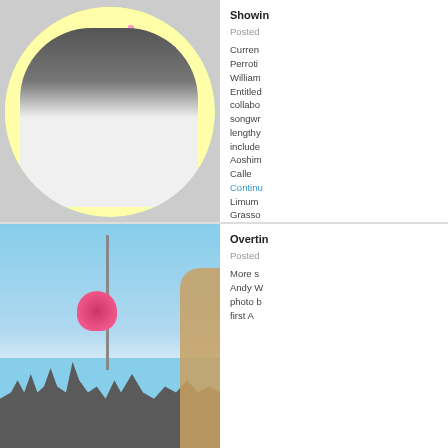[Figure (photo): Circular cropped photo of a couple kissing in front of a colorful Takashi Murakami-style flower artwork background]
Showin
Posted
Curren Perroti William Entitled collabo songwr lengthy include Aoshim Calle Continu Limum Grasso
[Figure (photo): Street-level photo showing Pittsburgh cityscape with PNC Park baseball stadium lights, hanging flower baskets, street pole, cloudy sky, and a yellow bridge arch on the right]
Overtin
Posted
More s Andy W photo b first A